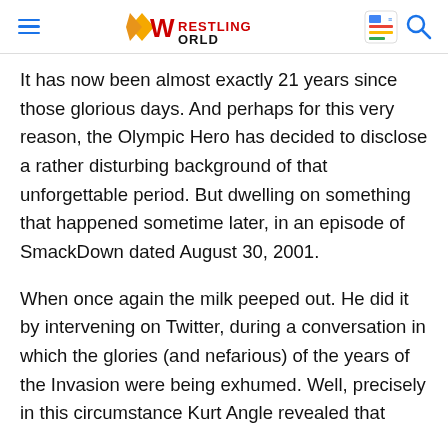Wrestling World
It has now been almost exactly 21 years since those glorious days. And perhaps for this very reason, the Olympic Hero has decided to disclose a rather disturbing background of that unforgettable period. But dwelling on something that happened sometime later, in an episode of SmackDown dated August 30, 2001.
When once again the milk peeped out. He did it by intervening on Twitter, during a conversation in which the glories (and nefarious) of the years of the Invasion were being exhumed. Well, precisely in this circumstance Kurt Angle revealed that